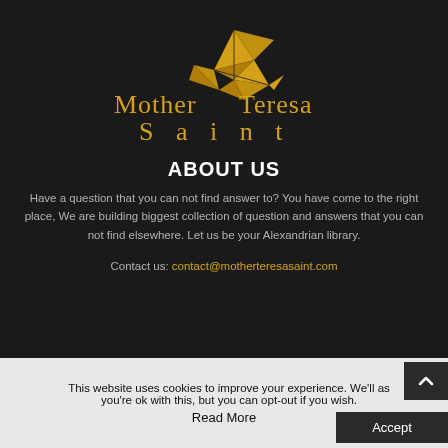[Figure (logo): Mother Teresa Saint logo with golden origami bird/hummingbird and stylized golden text 'Mother Teresa Saint' on dark background]
ABOUT US
Have a question that you can not find answer to? You have come to the right place, We are building biggest collection of question and answers that you can not find elsewhere. Let us be your Alexandrian library.
Contact us: contact@motherteresasaint.com
This website uses cookies to improve your experience. We'll as you're ok with this, but you can opt-out if you wish. Accept Read More